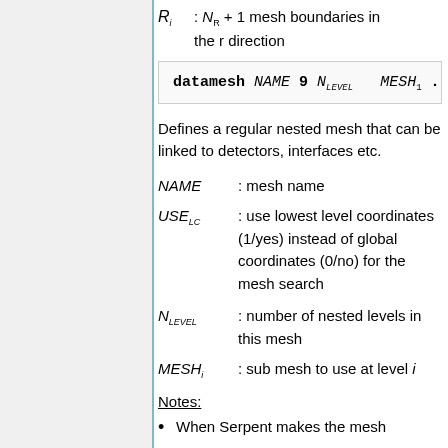R_i : N_R + 1 mesh boundaries in the r direction
Defines a regular nested mesh that can be linked to detectors, interfaces etc.
NAME : mesh name
USE_LC : use lowest level coordinates (1/yes) instead of global coordinates (0/no) for the mesh search
N_LEVEL : number of nested levels in this mesh
MESH_i : sub mesh to use at level i
Notes:
When Serpent makes the mesh